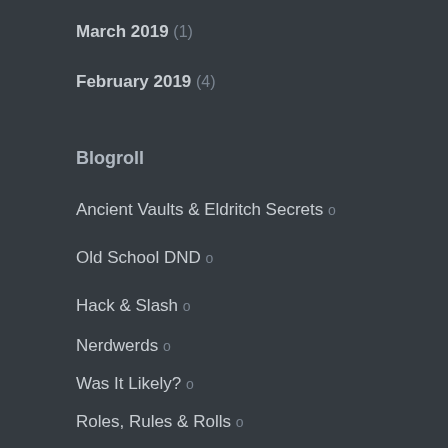March 2019 (1)
February 2019 (4)
Blogroll
Ancient Vaults & Eldritch Secrets o
Old School DND o
Hack & Slash o
Nerdwerds o
Was It Likely? o
Roles, Rules & Rolls o
Experimental Playground o
I Don't Remember That Move o
Ten Foot Pole o